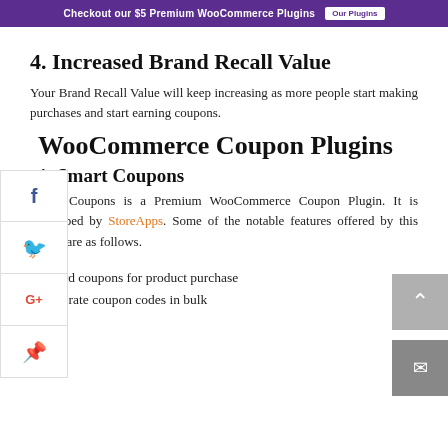Checkout our $5 Premium WooCommerce Plugins  Our Plugins
4. Increased Brand Recall Value
Your Brand Recall Value will keep increasing as more people start making purchases and start earning coupons.
WooCommerce Coupon Plugins
1. Smart Coupons
Smart Coupons is a Premium WooCommerce Coupon Plugin. It is developed by StoreApps. Some of the notable features offered by this plugin are as follows.
– Award coupons for product purchase
– Generate coupon codes in bulk